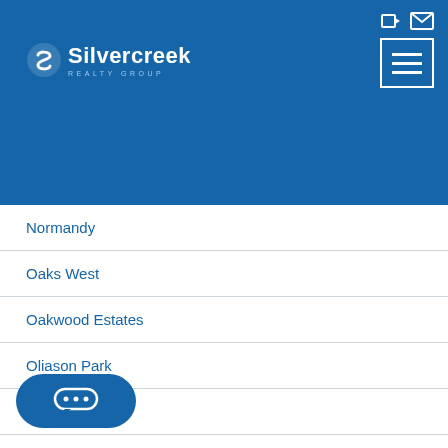Silvercreek Realty Group
Normandy
Oaks West
Oakwood Estates
Oliason Park
Olive Estates
Orchard Creek
Overland Way Su
…cres